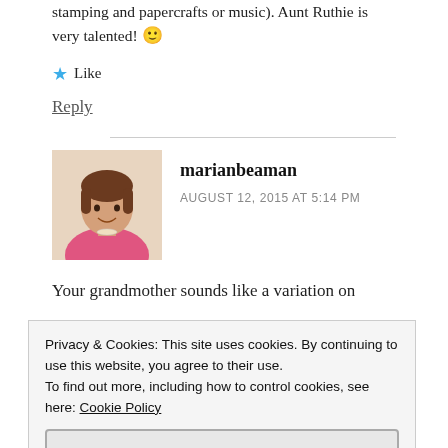stamping and papercrafts or music). Aunt Ruthie is very talented! 🙂
★ Like
Reply
marianbeaman
AUGUST 12, 2015 AT 5:14 PM
[Figure (photo): Avatar photo of marianbeaman, a woman with short brown hair wearing a pink jacket]
Your grandmother sounds like a variation on
Privacy & Cookies: This site uses cookies. By continuing to use this website, you agree to their use.
To find out more, including how to control cookies, see here: Cookie Policy
Close and accept
you.) You left out one artistic gift when tallying